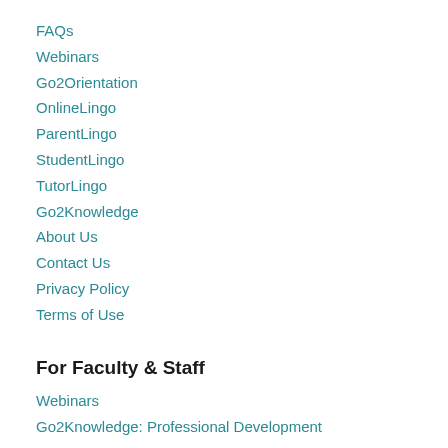FAQs
Webinars
Go2Orientation
OnlineLingo
ParentLingo
StudentLingo
TutorLingo
Go2Knowledge
About Us
Contact Us
Privacy Policy
Terms of Use
For Faculty & Staff
Webinars
Go2Knowledge: Professional Development
For Your Students